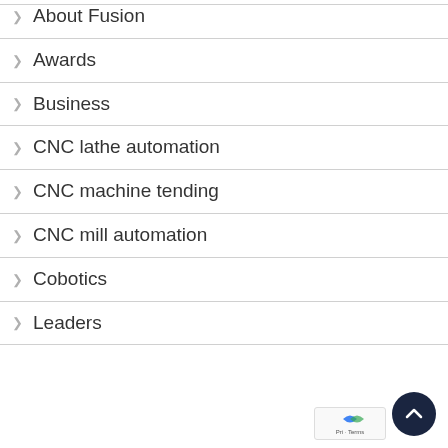About Fusion
Awards
Business
CNC lathe automation
CNC machine tending
CNC mill automation
Cobotics
Leaders